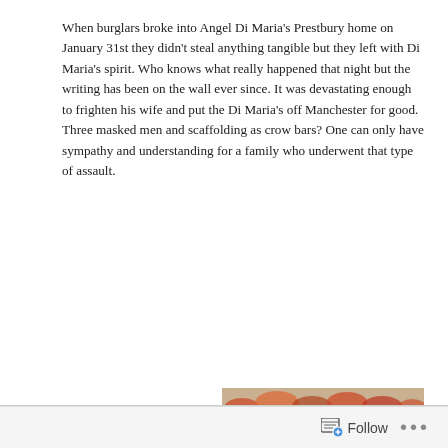When burglars broke into Angel Di Maria's Prestbury home on January 31st they didn't steal anything tangible but they left with Di Maria's spirit. Who knows what really happened that night but the writing has been on the wall ever since. It was devastating enough to frighten his wife and put the Di Maria's off Manchester for good. Three masked men and scaffolding as crow bars? One can only have sympathy and understanding for a family who underwent that type of assault.
[Figure (photo): Angel Di Maria in a red Manchester United kit running with a football on a green pitch, with fans in the stadium stands visible in the background.]
As of writing it seems certain Di Maria will sign for PSG. In the Manchester Evening News...
Follow ...